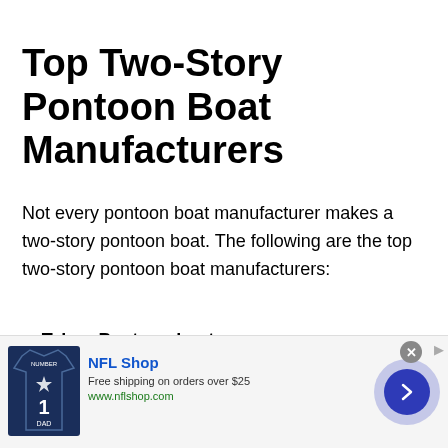Top Two-Story Pontoon Boat Manufacturers
Not every pontoon boat manufacturer makes a two-story pontoon boat. The following are the top two-story pontoon boat manufacturers:
Tahoe Pontoon boat.
Avalon Pontoon.
Solid craft Pontoon.
[Figure (other): Advertisement banner for NFL Shop: Free shipping on orders over $25, www.nflshop.com. Shows a navy blue Dallas Cowboys jersey with number 1, a forward arrow button, and a close button.]